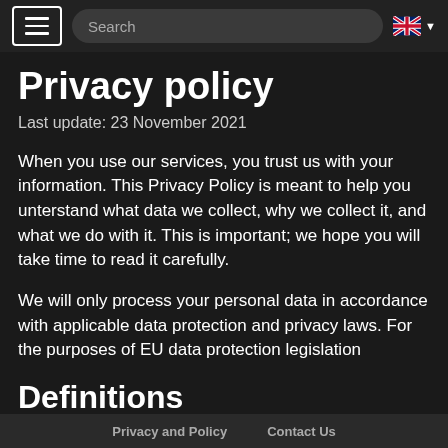Search | EN
Privacy policy
Last update: 23 November 2021
When you use our services, you trust us with your information. This Privacy Policy is meant to help you unterstand what data we collect, why we collect it, and what we do with it. This is important; we hope you will take time to read it carefully.
We will only process your personal data in accordance with applicable data protection and privacy laws. For the purposes of EU data protection legislation
Definitions
Privacy and Policy   Contact Us